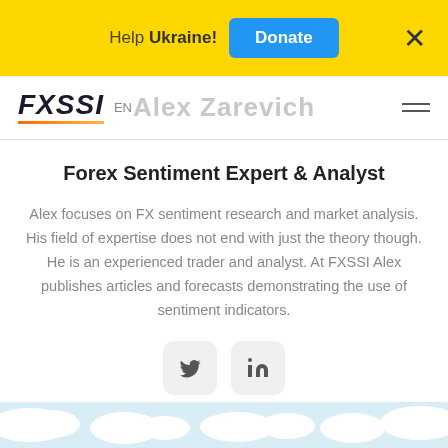Help Ukraine! Donate
[Figure (logo): FXSSI logo with orange underline and navigation bar showing EN language selector and Alex Zarevich watermark text]
Forex Sentiment Expert & Analyst
Alex focuses on FX sentiment research and market analysis. His field of expertise does not end with just the theory though. He is an experienced trader and analyst. At FXSSI Alex publishes articles and forecasts demonstrating the use of sentiment indicators.
[Figure (illustration): Social media buttons: Twitter (bird icon) and LinkedIn (in icon) with light gray rounded rectangle backgrounds]
[Figure (illustration): Light blue clouds strip at bottom of page]